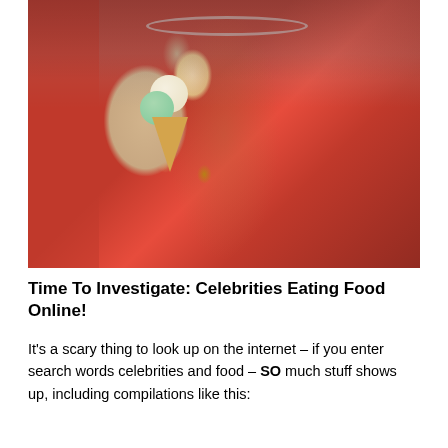[Figure (photo): A person wearing an open red floral shirt with a silver necklace, holding an ice cream cone with two scoops (vanilla and mint/green) in a waffle cone. The background appears to be a red wall. The person has curly hair and rings on their fingers.]
Time To Investigate: Celebrities Eating Food Online!
It's a scary thing to look up on the internet – if you enter search words celebrities and food – SO much stuff shows up, including compilations like this: